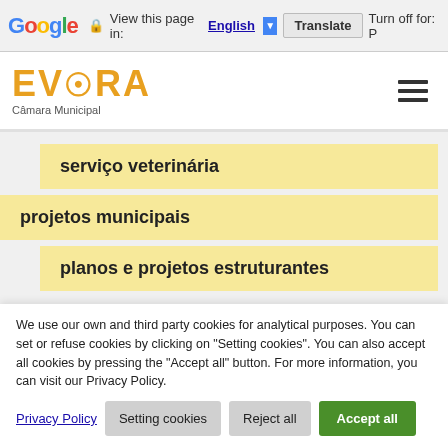Google Translate bar — View this page in: English | Translate | Turn off for: P
[Figure (logo): EVORA Câmara Municipal logo with orange stylized text and sun/globe icon]
serviço veterinária
projetos municipais
planos e projetos estruturantes
We use our own and third party cookies for analytical purposes. You can set or refuse cookies by clicking on "Setting cookies". You can also accept all cookies by pressing the "Accept all" button. For more information, you can visit our Privacy Policy.
Privacy Policy  Setting cookies  Reject all  Accept all